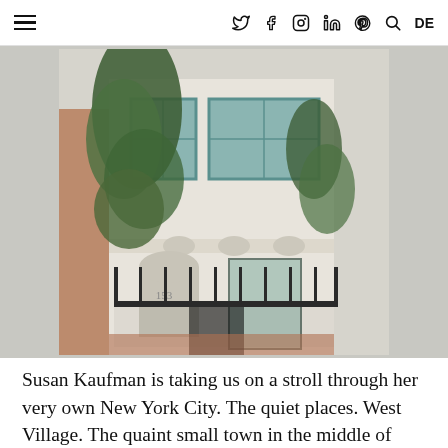≡  Twitter  Facebook  Instagram  LinkedIn  Pinterest  Search  DE
[Figure (photo): Exterior facade of a classic New York City townhouse covered in ivy, with ornate ironwork gate, arched doorways numbered 153, teal-trimmed multi-pane windows, and lush green trees overhanging the street.]
Susan Kaufman is taking us on a stroll through her very own New York City. The quiet places. West Village. The quaint small town in the middle of Manhattan. Bagels